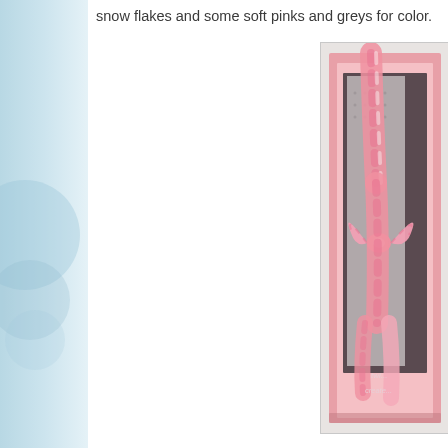snow flakes and some soft pinks and greys for color.
[Figure (photo): A gift card or notebook with pink gingham ribbon tied in a bow, displayed in an open pink box, with decorative grey dotted paper visible, on a light background. Text at bottom reads 'twi...' and 'create...']